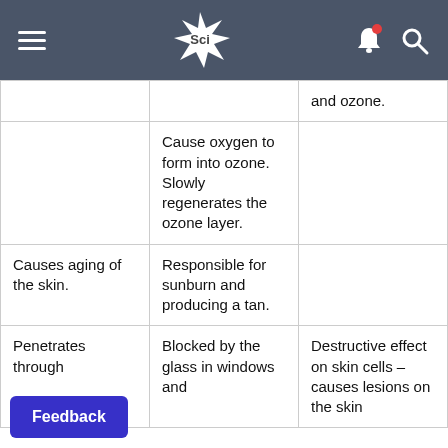Sci (navigation bar with hamburger menu, Sci logo, bell and search icons)
|  |  | and ozone. |
|  | Cause oxygen to form into ozone. Slowly regenerates the ozone layer. |  |
| Causes aging of the skin. | Responsible for sunburn and producing a tan. |  |
| Penetrates through | Blocked by the glass in windows and | Destructive effect on skin cells – causes lesions |
Feedback